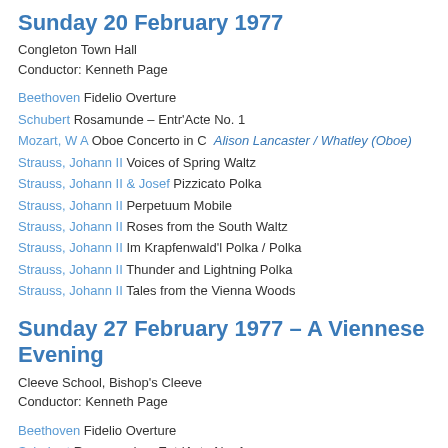Sunday 20 February 1977
Congleton Town Hall
Conductor: Kenneth Page
Beethoven Fidelio Overture
Schubert Rosamunde – Entr'Acte No. 1
Mozart, W A Oboe Concerto in C  Alison Lancaster / Whatley (Oboe)
Strauss, Johann II Voices of Spring Waltz
Strauss, Johann II & Josef Pizzicato Polka
Strauss, Johann II Perpetuum Mobile
Strauss, Johann II Roses from the South Waltz
Strauss, Johann II Im Krapfenwald'l Polka / Polka
Strauss, Johann II Thunder and Lightning Polka
Strauss, Johann II Tales from the Vienna Woods
Sunday 27 February 1977 – A Viennese Evening
Cleeve School, Bishop's Cleeve
Conductor: Kenneth Page
Beethoven Fidelio Overture
Schubert Rosamunde – Entr'Acte No. 1
Mozart, W A Violin Concerto No. 3  Kenneth Page (Violin)
Strauss, Johann II Voices of Spring Waltz
Strauss, Johann II Perpetuum Mobile
Strauss, Johann II & Josef Pizzicato Polka
Strauss, Johann II Roses from the South Waltz
Strauss, Johann II Im Krapfenwald'l Polka / Polka